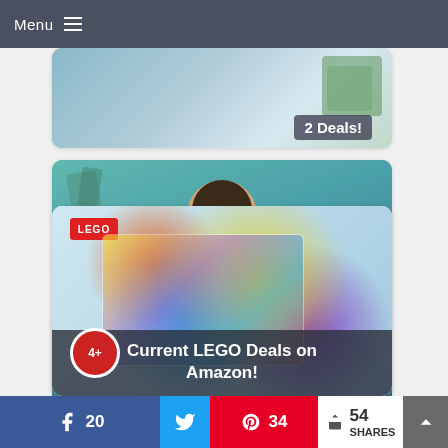Menu ≡
[Figure (photo): Partial card showing '2 Deals!' text overlay on an image]
[Figure (photo): Photo of a smiling boy wearing a dark t-shirt, green/teal background]
Diary of a Wimpy Kid Wrecking Ball
[Figure (photo): LEGO set product image with colorful characters and 4+ age badge]
Current LEGO Deals on Amazon!
20  34  < 54 SHARES